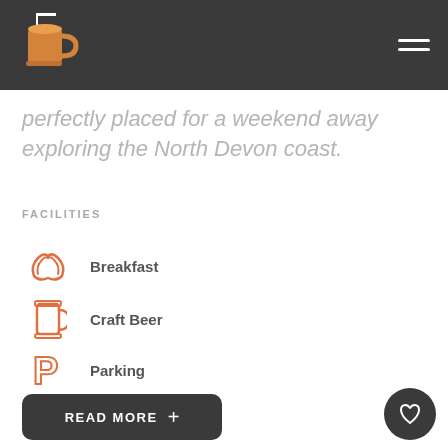[Figure (logo): Beer mug icon logo in orange/amber color with white flag on top, on dark background header]
perfectly placed for a weekend away exploring the North Devon coast.
FACILITIES
Breakfast
Craft Beer
Parking
WiFi
READ MORE +